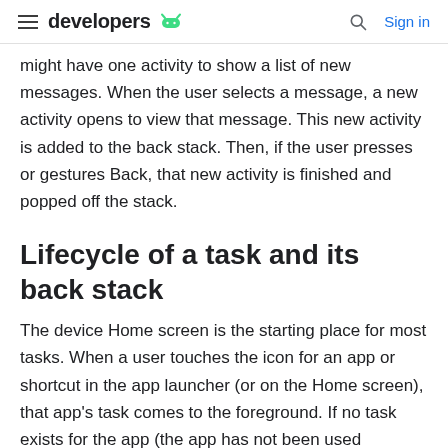developers [android logo] | Sign in
might have one activity to show a list of new messages. When the user selects a message, a new activity opens to view that message. This new activity is added to the back stack. Then, if the user presses or gestures Back, that new activity is finished and popped off the stack.
Lifecycle of a task and its back stack
The device Home screen is the starting place for most tasks. When a user touches the icon for an app or shortcut in the app launcher (or on the Home screen), that app's task comes to the foreground. If no task exists for the app (the app has not been used recently), then a new task is created and the main activity for that app opens as the root activity in the stack.